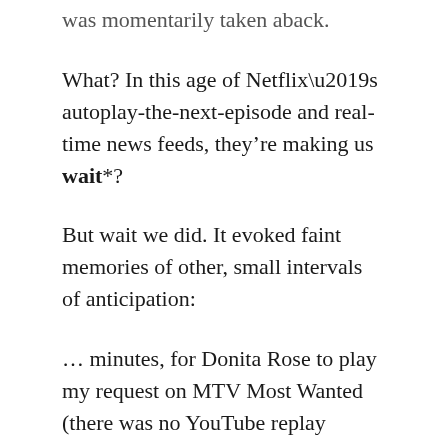was momentarily taken aback.
What? In this age of Netflix’s autoplay-the-next-episode and real-time news feeds, they’re making us wait*?
But wait we did. It evoked faint memories of other, small intervals of anticipation:
… minutes, for Donita Rose to play my request on MTV Most Wanted (there was no YouTube replay option back then, I either heard the song or didn’t),
… hours, for my favourite cable channel cartoons those early Saturday mornings (no alarm clock needed!),